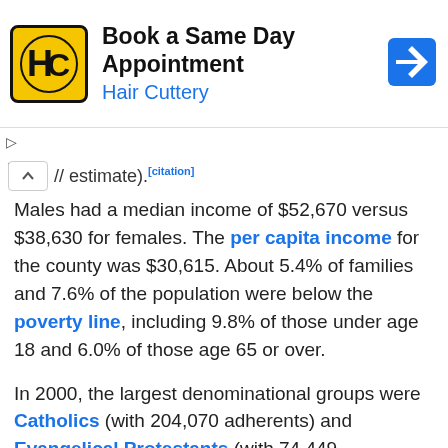[Figure (other): Advertisement banner for Hair Cuttery: 'Book a Same Day Appointment' with HC logo and navigation arrow icon]
// estimate).[citation]
Males had a median income of $52,670 versus $38,630 for females. The per capita income for the county was $30,615. About 5.4% of families and 7.6% of the population were below the poverty line, including 9.8% of those under age 18 and 6.0% of those age 65 or over.
In 2000, the largest denominational groups were Catholics (with 204,070 adherents) and Evangelical Protestants (with 74,449 adherents).[36] The largest religious bodies were the Catholic Church (with 204,070 members) and The Baptist General Conference (with 24,803 members).[37] The Rohr Jewish Learning Institute teaches courses in the